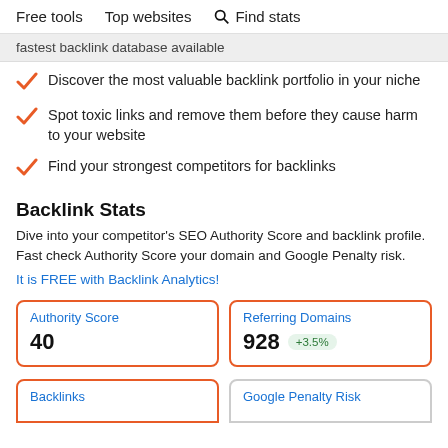Free tools   Top websites   Find stats
fastest backlink database available
Discover the most valuable backlink portfolio in your niche
Spot toxic links and remove them before they cause harm to your website
Find your strongest competitors for backlinks
Backlink Stats
Dive into your competitor's SEO Authority Score and backlink profile. Fast check Authority Score your domain and Google Penalty risk.
It is FREE with Backlink Analytics!
Authority Score
40
Referring Domains
928 +3.5%